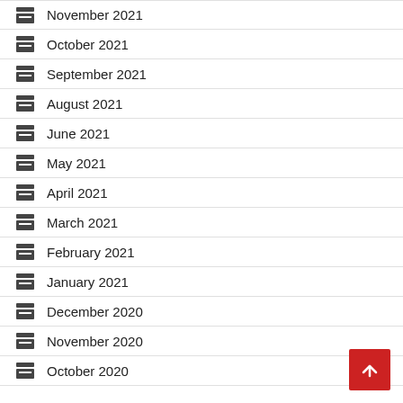November 2021
October 2021
September 2021
August 2021
June 2021
May 2021
April 2021
March 2021
February 2021
January 2021
December 2020
November 2020
October 2020